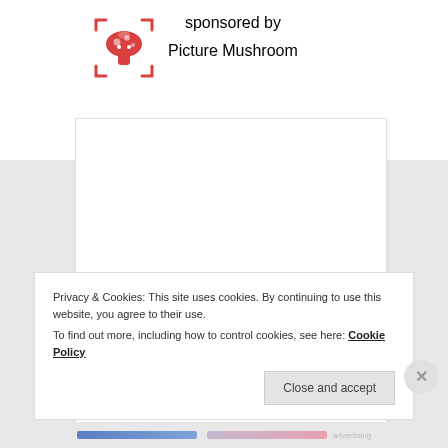[Figure (logo): Picture Mushroom app logo — red mushroom icon with scan brackets]
sponsored by
Picture Mushroom
[Figure (other): Large white content area / advertisement panel]
Privacy & Cookies: This site uses cookies. By continuing to use this website, you agree to their use.
To find out more, including how to control cookies, see here: Cookie Policy
Close and accept